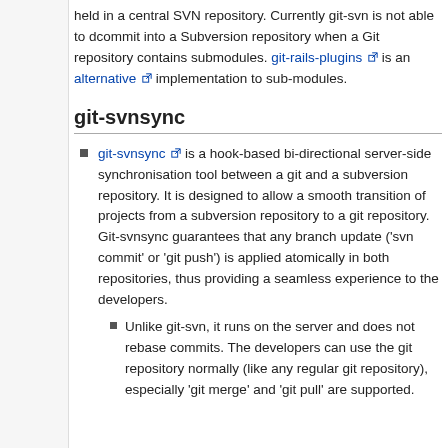held in a central SVN repository. Currently git-svn is not able to dcommit into a Subversion repository when a Git repository contains submodules. git-rails-plugins is an alternative implementation to sub-modules.
git-svnsync
git-svnsync is a hook-based bi-directional server-side synchronisation tool between a git and a subversion repository. It is designed to allow a smooth transition of projects from a subversion repository to a git repository. Git-svnsync guarantees that any branch update ('svn commit' or 'git push') is applied atomically in both repositories, thus providing a seamless experience to the developers.
Unlike git-svn, it runs on the server and does not rebase commits. The developers can use the git repository normally (like any regular git repository), especially 'git merge' and 'git pull' are supported.